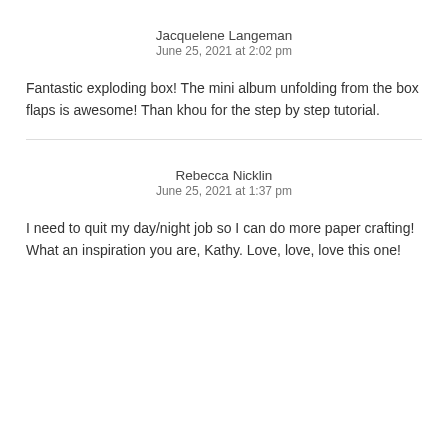Jacquelene Langeman
June 25, 2021 at 2:02 pm
Fantastic exploding box! The mini album unfolding from the box flaps is awesome! Than khou for the step by step tutorial.
Rebecca Nicklin
June 25, 2021 at 1:37 pm
I need to quit my day/night job so I can do more paper crafting! What an inspiration you are, Kathy. Love, love, love this one!